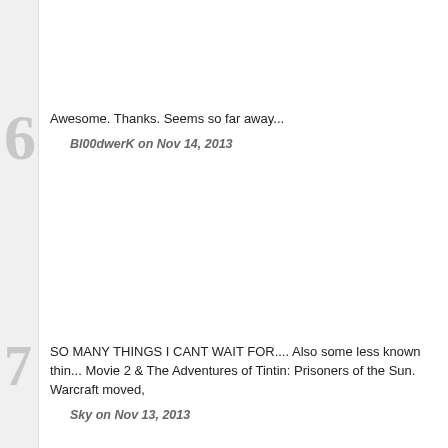Awesome. Thanks. Seems so far away...
Bl00dwerK on Nov 14, 2013
SO MANY THINGS I CANT WAIT FOR.... Also some less known things like: Asterix and Obelix: God Save Britannia, Asterix and the Falling Sky Movie 2 & The Adventures of Tintin: Prisoners of the Sun. Warcraft moved,
Sky on Nov 13, 2013
I graduate from college in may 2015, I guess I'll need to find a job fast to afford all the things I'll have to buy haha.
Fidel Reyes on Nov 13, 2013
Worth the wait and we hope it can bring a craze among the audience as well.
Gahe on Nov 14, 2013
i liked mi4 very much and for me one of the greatest action movies of all time
Avi on Nov 14, 2013